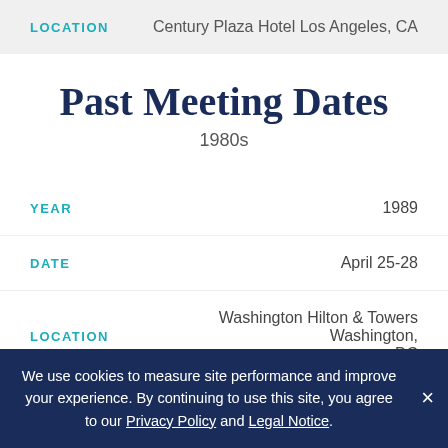LOCATION   Century Plaza Hotel Los Angeles, CA
Past Meeting Dates
1980s
YEAR   1989
DATE   April 25-28
LOCATION   Washington Hilton & Towers Washington, DC
We use cookies to measure site performance and improve your experience. By continuing to use this site, you agree to our Privacy Policy and Legal Notice.